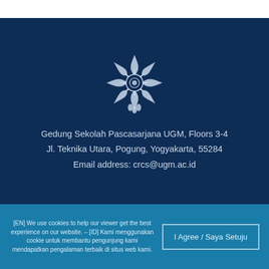[Figure (logo): UGM (Universitas Gadjah Mada) circular ornamental logo in white outline on dark blue background]
Gedung Sekolah Pascasarjana UGM, Floors 3-4
Jl. Teknika Utara, Pogung, Yogyakarta, 55284
Email address: crcs@ugm.ac.id
[EN] We use cookies to help our viewer get the best experience on our website. – [ID] Kami menggunakan cookie untuk membantu pengunjung kami mendapatkan pengalaman terbaik di situs web kami.
I Agree / Saya Setuju